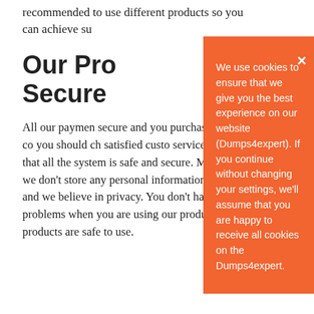recommended to use different products so you can achieve su
Our Pro Secure
All our paymen secure and yo purchasing ex you are not co you should ch satisfied custo services to make sure that all the system is safe and secure. More importantly, we don't store any personal information of our customers and we believe in privacy. You don't have to face any problems when you are using our products and all of the products are safe to use.
We use cookies to ensure that we give you the best experience on our website (Dumps4expert). If you continue without changing your settings, we'll assume that you are happy to receive all cookies on the Dumps4expert.